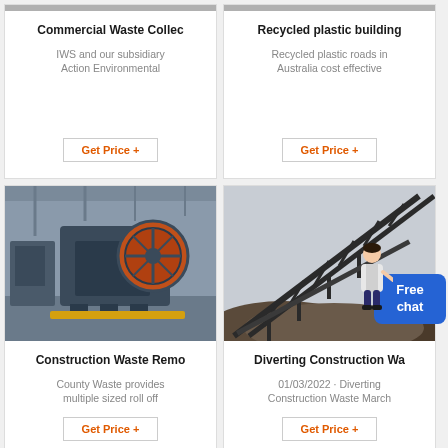[Figure (photo): Top-left card: Commercial Waste Collection product card with no visible image area (cut off at top)]
Commercial Waste Collec
IWS and our subsidiary Action Environmental
Get Price +
[Figure (photo): Top-right card: Recycled plastic building product card with no visible image area (cut off at top)]
Recycled plastic building
Recycled plastic roads in Australia cost effective
Get Price +
[Figure (photo): Bottom-left card image: industrial jaw crusher machine in a factory setting with orange flywheel]
Construction Waste Remo
County Waste provides multiple sized roll off
Get Price +
[Figure (photo): Bottom-right card image: outdoor conveyor belt structure over large piles of gravel/aggregate]
Diverting Construction Wa
01/03/2022 · Diverting Construction Waste March
Get Price +